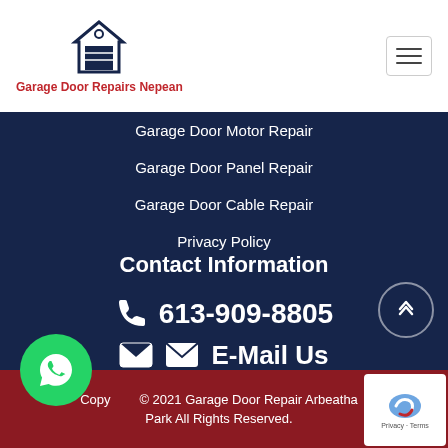[Figure (logo): Garage door icon above text 'Garage Door Repairs Nepean' in red]
Garage Door Motor Repair
Garage Door Panel Repair
Garage Door Cable Repair
Privacy Policy
Contact Information
613-909-8805
E-Mail Us
Copyright © 2021 Garage Door Repair Arbeatha Park All Rights Reserved.